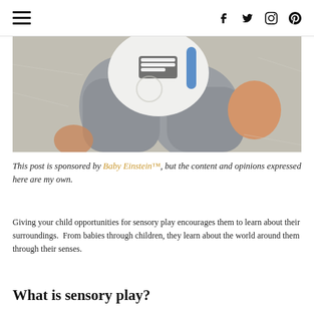☰  f  twitter  instagram  pinterest
[Figure (photo): Baby lying on a fur surface holding a Baby Einstein toy]
This post is sponsored by Baby Einstein™, but the content and opinions expressed here are my own.
Giving your child opportunities for sensory play encourages them to learn about their surroundings.  From babies through children, they learn about the world around them through their senses.
What is sensory play?